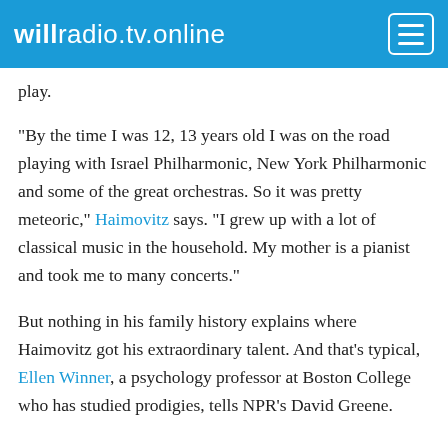willradio.tv.online
play.
"By the time I was 12, 13 years old I was on the road playing with Israel Philharmonic, New York Philharmonic and some of the great orchestras. So it was pretty meteoric," Haimovitz says. "I grew up with a lot of classical music in the household. My mother is a pianist and took me to many concerts."
But nothing in his family history explains where Haimovitz got his extraordinary talent. And that's typical, Ellen Winner, a psychology professor at Boston College who has studied prodigies, tells NPR's David Greene.